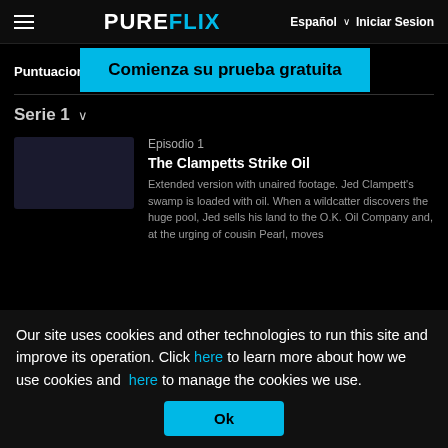PUREFLIX   Español ∨   Iniciar Sesion
Puntuacion
Comienza su prueba gratuita
Serie 1  ∨
Episodio 1
The Clampetts Strike Oil
Extended version with unaired footage. Jed Clampett's swamp is loaded with oil. When a wildcatter discovers the huge pool, Jed sells his land to the O.K. Oil Company and, at the urging of cousin Pearl, moves
Our site uses cookies and other technologies to run this site and improve its operation. Click here to learn more about how we use cookies and here to manage the cookies we use.
Ok